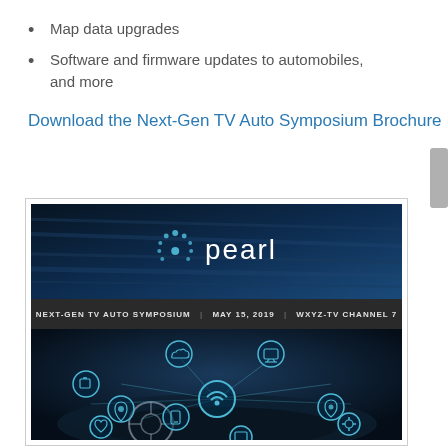Map data upgrades
Software and firmware updates to automobiles, and more
Download the Next-Gen TV Auto Symposium Brochure
[Figure (illustration): Next-Gen TV Auto Symposium brochure cover featuring the Pearl logo on a dark blue streaked background, with event details 'NEXT-GEN TV AUTO SYMPOSIUM | MAY 15, 2019 | WXYZ-TV CHANNEL 7', and a connected car interior image showing circular IoT icons overlaid on a car dashboard with glowing teal connectivity icons.]